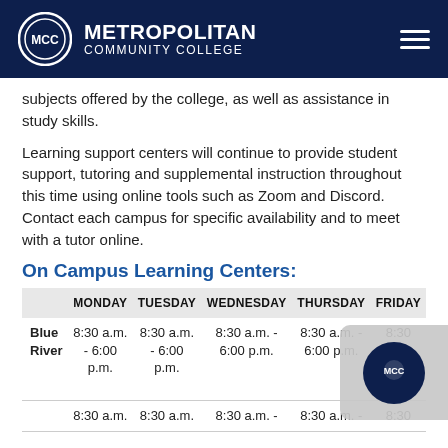Metropolitan Community College
subjects offered by the college, as well as assistance in study skills.
Learning support centers will continue to provide student support, tutoring and supplemental instruction throughout this time using online tools such as Zoom and Discord. Contact each campus for specific availability and to meet with a tutor online.
On Campus Learning Centers:
|  | MONDAY | TUESDAY | WEDNESDAY | THURSDAY | FRIDAY |
| --- | --- | --- | --- | --- | --- |
| Blue River | 8:30 a.m. - 6:00 p.m. | 8:30 a.m. - 6:00 p.m. | 8:30 a.m. - 6:00 p.m. | 8:30 a.m. - 6:00 p.m. | 8:30 a.m. - 12:00 p. |
|  | 8:30 a.m. | 8:30 a.m. | 8:30 a.m. - | 8:30 a.m. - | 8:30 |